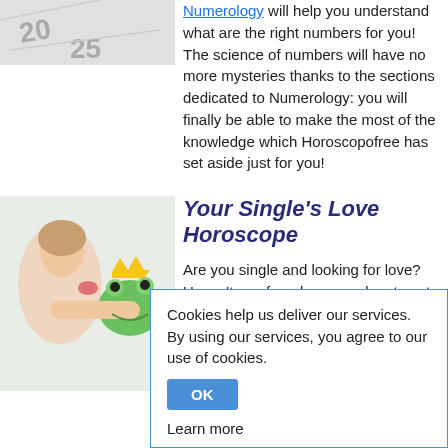[Figure (photo): Partial view of a page with numbers, partially cut off at top]
Numerology will help you understand what are the right numbers for you! The science of numbers will have no more mysteries thanks to the sections dedicated to Numerology: you will finally be able to make the most of the knowledge which Horoscopofree has set aside just for you!
[Figure (photo): Woman kissing a green toy frog with a crown]
Your Single's Love Horoscope
Are you single and looking for love? Haven't you found your soul mate yet but want to know who is right for you?
Cookies help us deliver our services. By using our services, you agree to our use of cookies.
OK
Learn more